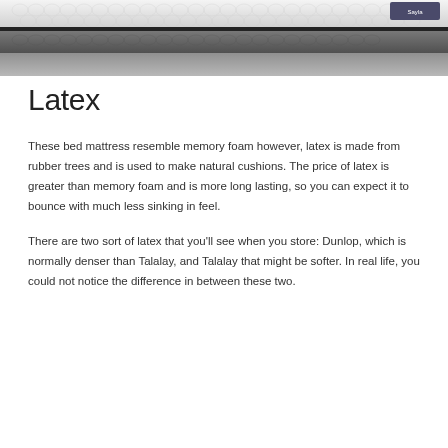[Figure (photo): Close-up photo of a mattress showing layered foam/latex construction with hexagonal quilted top surface in white and grey tones, with a dark zipper edge visible]
Latex
These bed mattress resemble memory foam however, latex is made from rubber trees and is used to make natural cushions. The price of latex is greater than memory foam and is more long lasting, so you can expect it to bounce with much less sinking in feel.
There are two sort of latex that you'll see when you store: Dunlop, which is normally denser than Talalay, and Talalay that might be softer. In real life, you could not notice the difference in between these two.